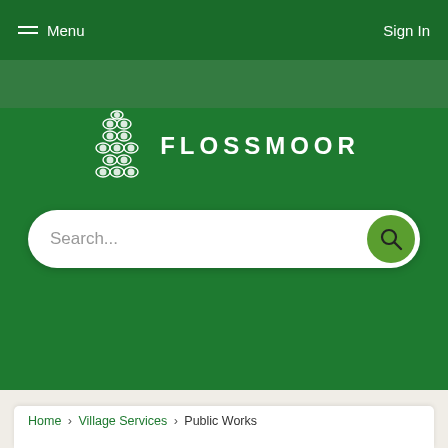Menu   Sign In
[Figure (logo): Flossmoor village logo with decorative tree/knot emblem and text FLOSSMOOR]
[Figure (screenshot): Search bar with placeholder text 'Search...' and green search button with magnifying glass icon]
Home › Village Services › Public Works